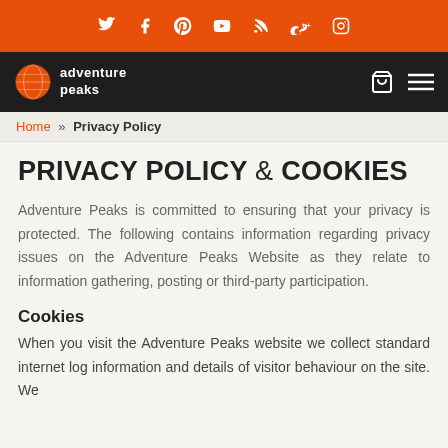Social media icons bar (Twitter, Facebook, Pinterest, YouTube, RSS, Google+, Instagram)
[Figure (logo): Adventure Peaks logo with globe icon on dark navigation bar]
Home » Privacy Policy
PRIVACY POLICY & COOKIES
Adventure Peaks is committed to ensuring that your privacy is protected. The following contains information regarding privacy issues on the Adventure Peaks Website as they relate to information gathering, posting or third-party participation.
Cookies
When you visit the Adventure Peaks website we collect standard internet log information and details of visitor behaviour on the site. We